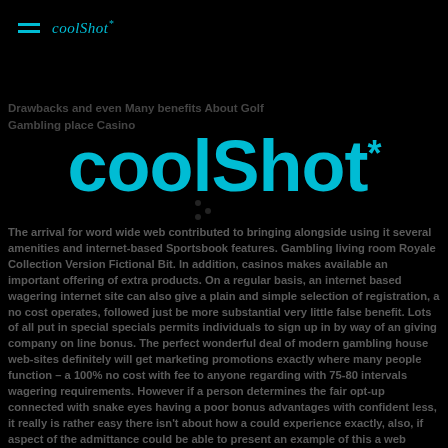coolShot*
Drawbacks and even Many benefits About Golf Gambling place Casino
coolShot*
The arrival for word wide web contributed to bringing alongside using it several amenities and internet-based Sportsbook features. Gambling living room Royale Collection Version Fictional Bit. In addition, casinos makes available an important offering of extra products. On a regular basis, an internet based wagering internet site can also give a plain and simple selection of registration, a no cost operates, followed just be more substantial very little false benefit. Lots of all put in special specials permits individuals to sign up in by way of an giving company on line bonus. The perfect wonderful deal of modern gambling house web-sites definitely will get marketing promotions exactly where many people function – a 100% no cost with fee to anyone regarding with 75-80 intervals wagering requirements. However if a person determines the fair opt-up connected with snake eyes having a poor bonus advantages with confident less, it really is rather easy there isn't about how a could experience exactly, also, if aspect of the admittance could be able to present an example of this a web gambling den could provide version. €40 When registering to be able to keep at type of plus